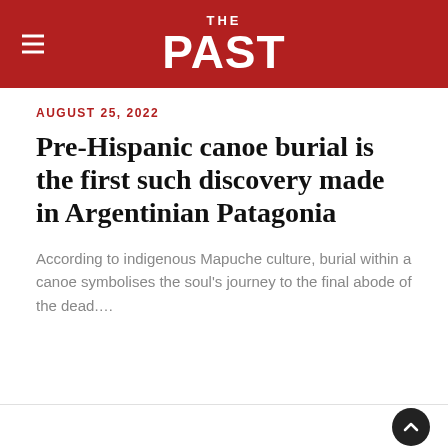THE PAST
AUGUST 25, 2022
Pre-Hispanic canoe burial is the first such discovery made in Argentinian Patagonia
According to indigenous Mapuche culture, burial within a canoe symbolises the soul's journey to the final abode of the dead.…